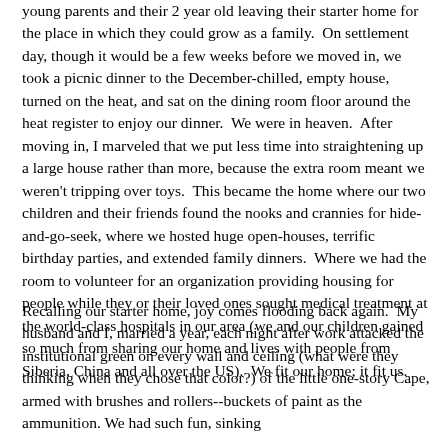young parents and their 2 year old leaving their starter home for the place in which they could grow as a family.  On settlement day, though it would be a few weeks before we moved in, we took a picnic dinner to the December-chilled, empty house, turned on the heat, and sat on the dining room floor around the heat register to enjoy our dinner.  We were in heaven.  After moving in, I marveled that we put less time into straightening up a large house rather than more, because the extra room meant we weren't tripping over toys.  This became the home where our two children and their friends found the nooks and crannies for hide-and-go-seek, where we hosted huge open-houses, terrific birthday parties, and extended family dinners.  Where we had the room to volunteer for an organization providing housing for people while they or their loved ones sought medical treatment at the world-class hospitals in our area (we and our children gained so much from sharing our home and lives with people from Siberia, China and all over the US).  We fit our home; it fit us.
Recalling our starter home, joy comes flooding back again.  My husband and I, married a year, each night after work attacked the institutional green on every wall and ceiling (what were they thinking when they chose that color?) of the little one-story Cape, armed with brushes and rollers--buckets of paint as the ammunition. We had such fun, sinking our money and hopes for the future into a place for raising the next generation.